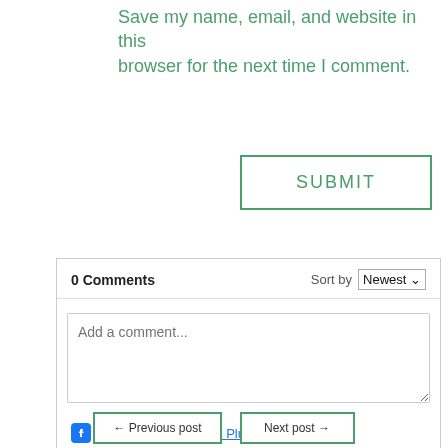Save my name, email, and website in this browser for the next time I comment.
SUBMIT
0 Comments  Sort by Newest
Add a comment...
Facebook Comments Plugin
← Previous post
Next post →